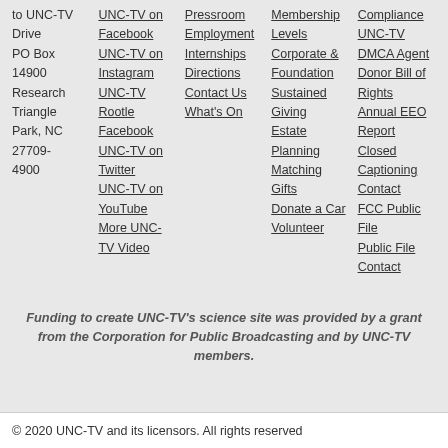to UNC-TV Drive PO Box 14900 Research Triangle Park, NC 27709-4900
UNC-TV on Facebook
UNC-TV on Instagram
UNC-TV Rootle Facebook
UNC-TV on Twitter
UNC-TV on YouTube
More UNC-TV Video
Pressroom
Employment
Internships
Directions
Contact Us
What's On
Membership Levels
Corporate & Foundation
Sustained Giving
Estate Planning
Matching Gifts
Donate a Car
Volunteer
Compliance
UNC-TV DMCA Agent
Donor Bill of Rights
Annual EEO Report
Closed Captioning
Contact
FCC Public File
Public File Contact
Funding to create UNC-TV's science site was provided by a grant from the Corporation for Public Broadcasting and by UNC-TV members.
© 2020 UNC-TV and its licensors. All rights reserved